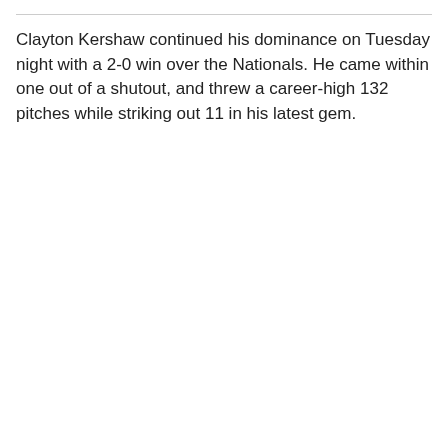Clayton Kershaw continued his dominance on Tuesday night with a 2-0 win over the Nationals. He came within one out of a shutout, and threw a career-high 132 pitches while striking out 11 in his latest gem.